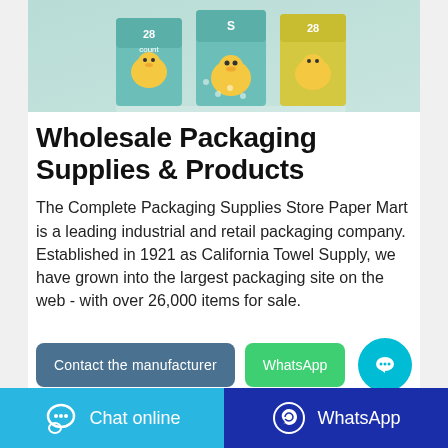[Figure (photo): Product image showing baby diaper/towel packaging boxes with cartoon character designs, displayed on a teal/green background]
Wholesale Packaging Supplies & Products
The Complete Packaging Supplies Store Paper Mart is a leading industrial and retail packaging company. Established in 1921 as California Towel Supply, we have grown into the largest packaging site on the web - with over 26,000 items for sale.
Contact the manufacturer
WhatsApp
Chat online
WhatsApp